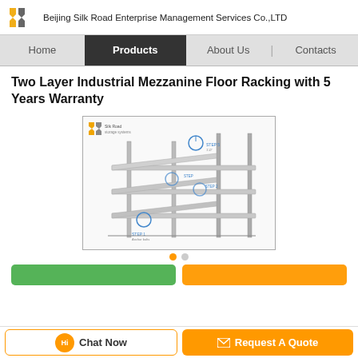Beijing Silk Road Enterprise Management Services Co.,LTD
[Figure (screenshot): Navigation bar with Home, Products (active/selected in dark), About Us, Contacts]
Two Layer Industrial Mezzanine Floor Racking with 5 Years Warranty
[Figure (engineering-diagram): Technical assembly diagram of a two-layer industrial mezzanine floor racking system with steps labeled STEP 1 through STEP 5 showing installation sequence, with the company logo in the top left corner]
[Figure (screenshot): Bottom action area with pagination dots (orange dot active, gray dot), green and orange/yellow action buttons partially visible]
Chat Now | Request A Quote